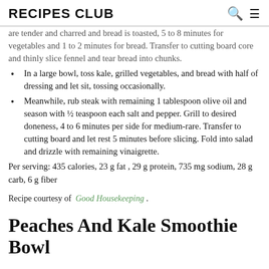RECIPES CLUB
are tender and charred and bread is toasted, 5 to 8 minutes for vegetables and 1 to 2 minutes for bread. Transfer to cutting board core and thinly slice fennel and tear bread into chunks.
In a large bowl, toss kale, grilled vegetables, and bread with half of dressing and let sit, tossing occasionally.
Meanwhile, rub steak with remaining 1 tablespoon olive oil and season with ½ teaspoon each salt and pepper. Grill to desired doneness, 4 to 6 minutes per side for medium-rare. Transfer to cutting board and let rest 5 minutes before slicing. Fold into salad and drizzle with remaining vinaigrette.
Per serving: 435 calories, 23 g fat , 29 g protein, 735 mg sodium, 28 g carb, 6 g fiber
Recipe courtesy of Good Housekeeping .
Peaches And Kale Smoothie Bowl